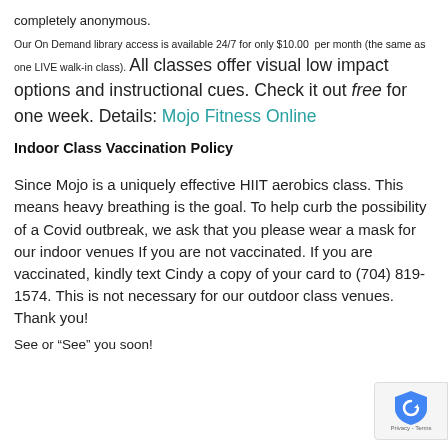completely anonymous. Our On Demand library access is available 24/7 for only $10.00 per month (the same as one LIVE walk-in class). All classes offer visual low impact options and instructional cues. Check it out free for one week. Details: Mojo Fitness Online
Indoor Class Vaccination Policy
Since Mojo is a uniquely effective HIIT aerobics class. This means heavy breathing is the goal. To help curb the possibility of a Covid outbreak, we ask that you please wear a mask for our indoor venues If you are not vaccinated. If you are vaccinated, kindly text Cindy a copy of your card to (704) 819-1574. This is not necessary for our outdoor class venues. Thank you!
See or “See” you soon!